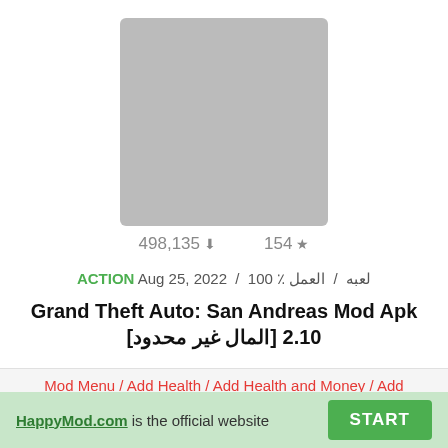[Figure (screenshot): Gray placeholder app icon image]
498,135 ⬇  154 ★
ACTION Aug 25, 2022 / لعبه / العمل ٪ 100
Grand Theft Auto: San Andreas Mod Apk 2.10 [المال غير محدود]
Mod Menu / Add Health / Add Health and Money / Add Stamina / Get a Hearse / Get a Fuel Tanker / Get a
HappyMod.com is the official website  START